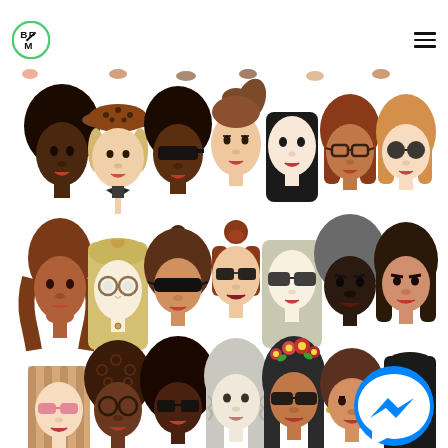BPM logo and navigation hamburger menu
[Figure (illustration): Grid of illustrated diverse female faces/avatars with various hairstyles, skin tones, and accessories (glasses, hats, head wraps). Three rows of seven faces each, partially cropped at top and bottom. Illustration style with flat colors. A Facebook Messenger chat icon appears in the bottom right corner.]